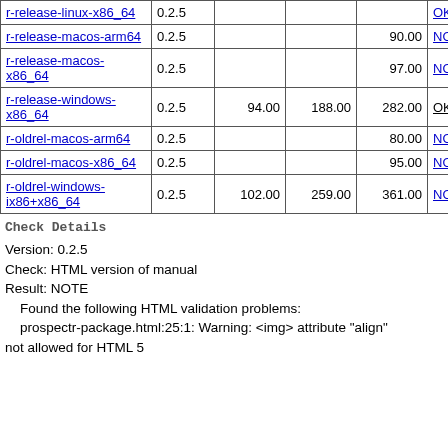|  | version |  |  |  | status |  |
| --- | --- | --- | --- | --- | --- | --- |
| r-release-linux-x86_64 | 0.2.5 |  |  |  | OK |  |
| r-release-macos-arm64 | 0.2.5 |  |  | 90.00 | NOTE |  |
| r-release-macos-x86_64 | 0.2.5 |  |  | 97.00 | NOTE |  |
| r-release-windows-x86_64 | 0.2.5 | 94.00 | 188.00 | 282.00 | OK |  |
| r-oldrel-macos-arm64 | 0.2.5 |  |  | 80.00 | NOTE |  |
| r-oldrel-macos-x86_64 | 0.2.5 |  |  | 95.00 | NOTE |  |
| r-oldrel-windows-ix86+x86_64 | 0.2.5 | 102.00 | 259.00 | 361.00 | NOTE |  |
Check Details
Version: 0.2.5
Check: HTML version of manual
Result: NOTE
    Found the following HTML validation problems:
    prospectr-package.html:25:1: Warning: <img> attribute "align"
not allowed for HTML 5